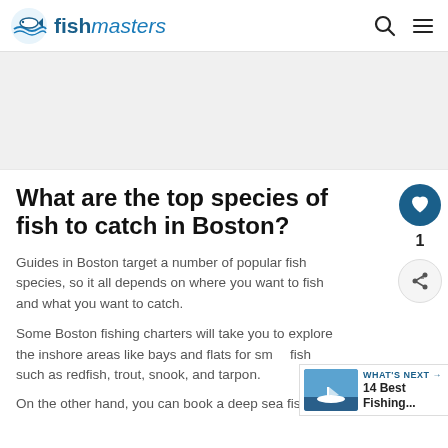fishmasters
[Figure (other): Advertisement banner placeholder area]
What are the top species of fish to catch in Boston?
Guides in Boston target a number of popular fish species, so it all depends on where you want to fish and what you want to catch.
Some Boston fishing charters will take you to explore the inshore areas like bays and flats for small fish such as redfish, trout, snook, and tarpon.
On the other hand, you can book a deep sea fishing